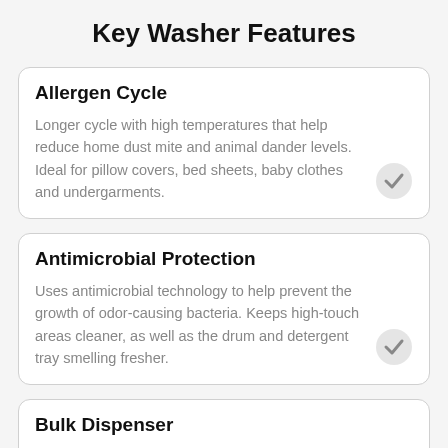Key Washer Features
Allergen Cycle
Longer cycle with high temperatures that help reduce home dust mite and animal dander levels. Ideal for pillow covers, bed sheets, baby clothes and undergarments.
Antimicrobial Protection
Uses antimicrobial technology to help prevent the growth of odor-causing bacteria. Keeps high-touch areas cleaner, as well as the drum and detergent tray smelling fresher.
Bulk Dispenser
Internal reservoir contains a multi-day supply of detergent or softener and automatically dispenses them during the wash cycle. Saves time and effort